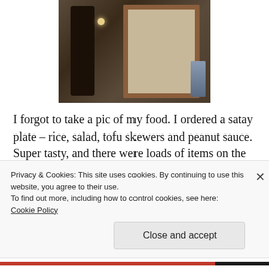[Figure (photo): Interior photo of a restaurant or bar showing a wooden framed mirror or doorway, dim lighting with a wall sconce, dark bottles on the right side, and dark wooden decor.]
I forgot to take a pic of my food. I ordered a satay plate – rice, salad, tofu skewers and peanut sauce. Super tasty, and there were loads of items on the menu that I would have liked to try.  Snacks? On the way to Pana we stopped for
Privacy & Cookies: This site uses cookies. By continuing to use this website, you agree to their use.
To find out more, including how to control cookies, see here:
Cookie Policy
Close and accept